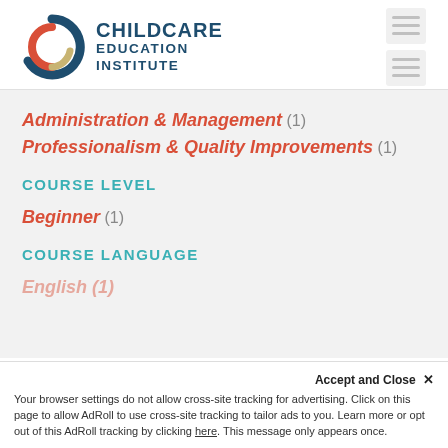[Figure (logo): ChildCare Education Institute logo with circular swirl icon in red, blue, and tan, and text 'ChildCare Education Institute' in dark blue]
Administration & Management (1)
Professionalism & Quality Improvements (1)
COURSE LEVEL
Beginner (1)
COURSE LANGUAGE
Accept and Close ×
Your browser settings do not allow cross-site tracking for advertising. Click on this page to allow AdRoll to use cross-site tracking to tailor ads to you. Learn more or opt out of this AdRoll tracking by clicking here. This message only appears once.